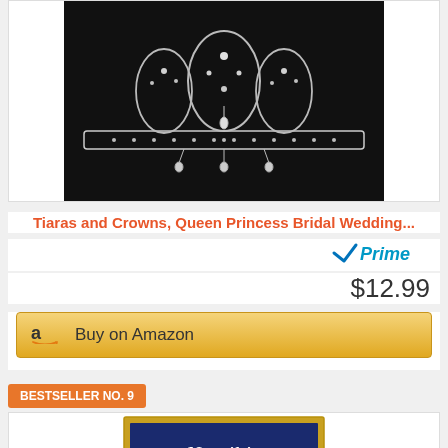[Figure (photo): Ornate crystal and rhinestone tiara/crown on black background]
Tiaras and Crowns, Queen Princess Bridal Wedding...
[Figure (logo): Amazon Prime checkmark logo with blue checkmark and 'Prime' in blue italic text]
$12.99
Buy on Amazon
BESTSELLER NO. 9
[Figure (photo): Book or product with 'Namibia' title text on dark blue cover with small landscape photo, gold border frame]